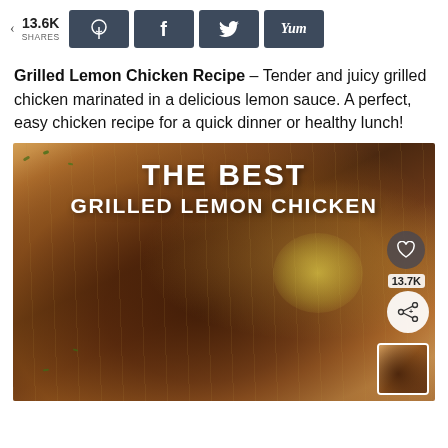< 13.6K SHARES  [Pinterest] [Facebook] [Twitter] [Yum]
Grilled Lemon Chicken Recipe – Tender and juicy grilled chicken marinated in a delicious lemon sauce. A perfect, easy chicken recipe for a quick dinner or healthy lunch!
[Figure (photo): Photo of grilled lemon chicken pieces on a wooden cutting board with lemon wedges and herb garnish. Overlaid text reads: THE BEST GRILLED LEMON CHICKEN. A heart button, 13.7K share count, and share icon appear in the lower right corner of the image.]